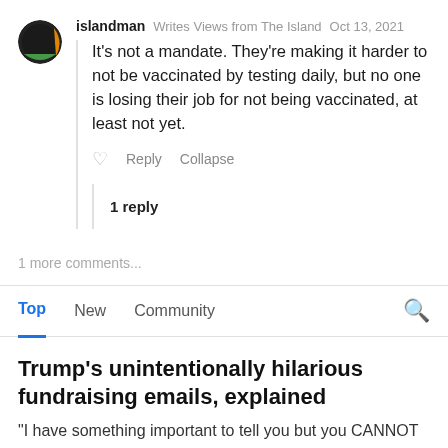islandman · Writes Views from The Island · Oct 13, 2021
It's not a mandate. They're making it harder to not be vaccinated by testing daily, but no one is losing their job for not being vaccinated, at least not yet.
Reply  Collapse
1 reply
1 more comments...
Top   New   Community
Trump's unintentionally hilarious fundraising emails, explained
"I have something important to tell you but you CANNOT